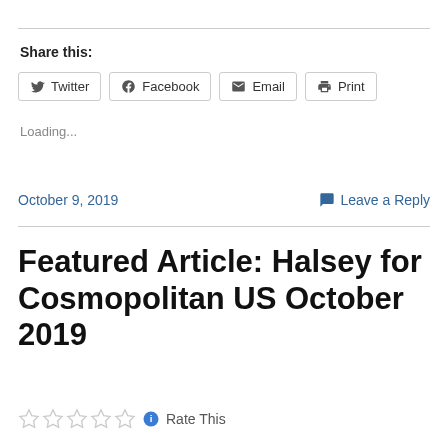Share this:
Twitter  Facebook  Email  Print
Loading...
October 9, 2019
Leave a Reply
Featured Article: Halsey for Cosmopolitan US October 2019
Rate This